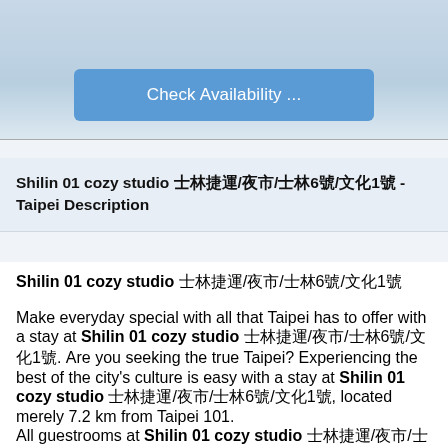[Figure (photo): Top section showing a hotel/apartment room image with a blue 'Check Availability ...' button overlay at the bottom]
Shilin 01 cozy studio 士林捷運/夜市/士林6號/文化1號 - Taipei Description
Shilin 01 cozy studio 士林捷運/夜市/士林6號/文化1號
Make everyday special with all that Taipei has to offer with a stay at Shilin 01 cozy studio 士林捷運/夜市/士林6號/文化1號. Are you seeking the true Taipei? Experiencing the best of the city's culture is easy with a stay at Shilin 01 cozy studio 士林捷運/夜市/士林6號/文化1號, located merely 7.2 km from Taipei 101.
All guestrooms at Shilin 01 cozy studio 士林捷運/夜市/士林6號/文化1號 provide guests with a range of amenities to ensure a restful night. Enjoy your stay even more at the apartment, knowing that some selected rooms include linen service and air conditioning. For a bit of entertainment, guests will find television and cable TV available in some selected rooms. Don't worry about being thirsty as a coffee or tea maker is